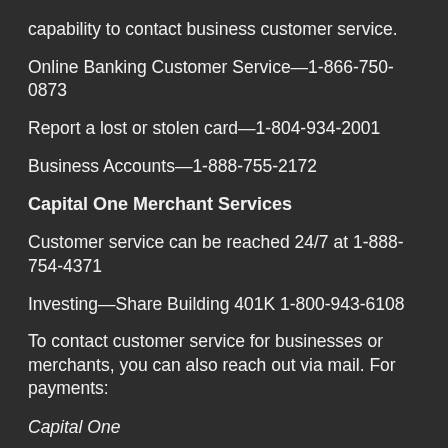capability to contact business customer service.
Online Banking Customer Service—1-866-750-0873
Report a lost or stolen card—1-804-934-2001
Business Accounts—1-888-755-2172
Capital One Merchant Services
Customer service can be reached 24/7 at 1-888-754-4371
Investing—Share Building 401K 1-800-943-6108
To contact customer service for businesses or merchants, you can also reach out via mail. For payments:
Capital One
P.O. Box 105474